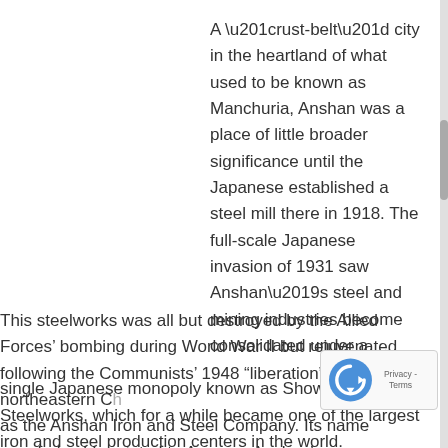A “rust-belt” city in the heartland of what used to be known as Manchuria, Anshan was a place of little broader significance until the Japanese established a steel mill there in 1918. The full-scale Japanese invasion of 1931 saw Anshan’s steel and mining industries become consolidated under a single Japanese monopoly known as Showa Steelworks, which for a while became one of the largest iron and steel production centers in the world.
This steelworks was all but destroyed by the Allied Forces’ bombing during World War II but rejuvenated following the Communists’ 1948 “liberation” of northeastern C[hina] as the Anshan Iron and Steel Company. Its name popularly abbreviated to Angang, Anshan’s new steelworks were managed directly by the State-owned...